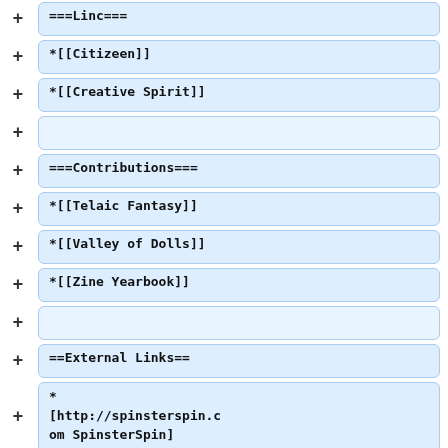===Linc===
*[[Citizeen]]
*[[Creative Spirit]]
===Contributions===
*[[Telaic Fantasy]]
*[[Valley of Dolls]]
*[[Zine Yearbook]]
==External Links==
* [http://spinsterspin.com SpinsterSpin]
* [http://craftyned.word...